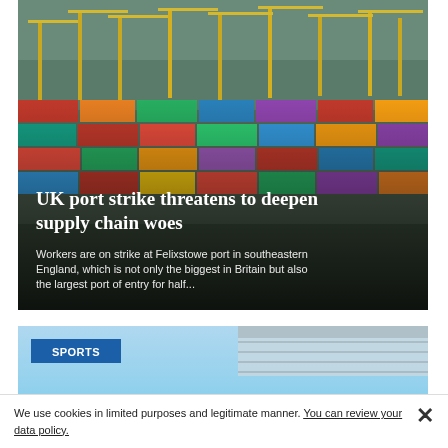[Figure (photo): Aerial/wide shot of a busy shipping container port (Felixstowe) with colorful stacked containers and cranes in the background, overlaid with article headline and description text.]
UK port strike threatens to deepen supply chain woes
Workers are on strike at Felixstowe port in southeastern England, which is not only the biggest in Britain but also the largest port of entry for half...
[Figure (photo): Partial photo of an outdoor sports venue or stadium with blue sky background, tagged with 'SPORTS' category label.]
We use cookies in limited purposes and legitimate manner. You can review your data policy.